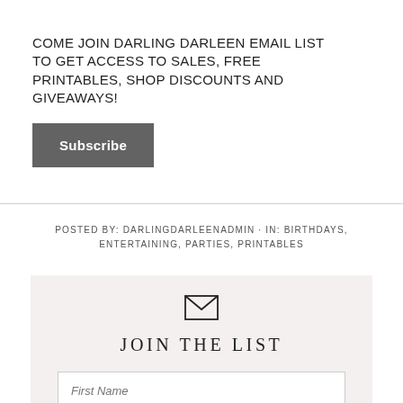COME JOIN DARLING DARLEEN EMAIL LIST TO GET ACCESS TO SALES, FREE PRINTABLES, SHOP DISCOUNTS AND GIVEAWAYS!
Subscribe
POSTED BY: DARLINGDARLEENADMIN · IN: BIRTHDAYS, ENTERTAINING, PARTIES, PRINTABLES
[Figure (other): Email signup box with envelope icon, JOIN THE LIST heading, and First Name input field on a light beige background]